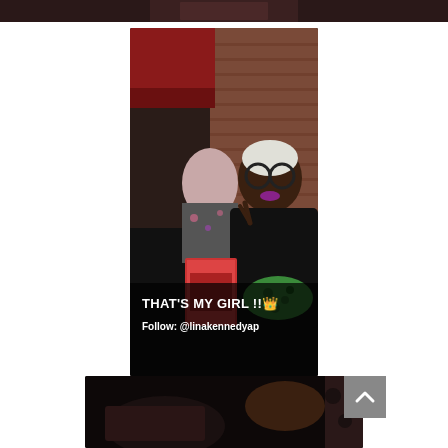[Figure (photo): Dark top strip showing edge of a photo at top of page]
[Figure (photo): Indoor photo of two women at a social gathering. One woman in black outfit with green leopard print accessory and round glasses holding a book, making a peace sign. Another woman in floral print seated in background. Brick wall visible. Text overlay reads: THAT'S MY GIRL!! (crown emoji) and Follow: @linakennedyap]
THAT'S MY GIRL!! 👑
Follow: @linakennedyap
[Figure (photo): Dark photo at bottom showing food or objects on a table, partially visible]